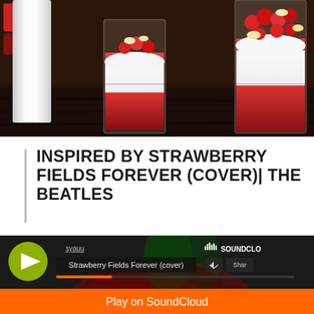[Figure (photo): Photo of dessert parfait glasses filled with layers of cream, crushed strawberries/raspberries, and topped with fresh raspberries and meringue pieces, on a dark wooden table]
INSPIRED BY STRAWBERRY FIELDS FOREVER (COVER)| THE BEATLES
[Figure (screenshot): SoundCloud embedded player showing 'Strawberry Fields Forever (cover)' by user syauu, with orange play bar at bottom reading 'Play on SoundCloud']